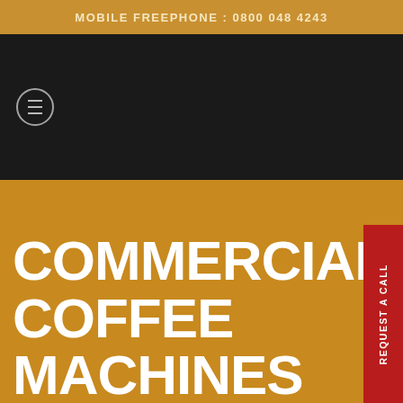MOBILE FREEPHONE : 0800 048 4243
[Figure (screenshot): Dark navigation bar with circular hamburger menu icon]
COMMERCIAL COFFEE MACHINES